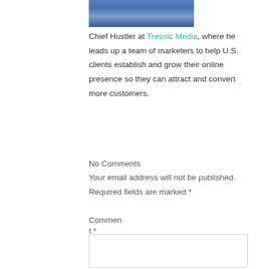[Figure (photo): Partial photo of a person wearing a blue suit and tie, cropped at top of page]
Chief Hustler at Tresnic Media, where he leads up a team of marketers to help U.S. clients establish and grow their online presence so they can attract and convert more customers.
No Comments
Your email address will not be published. Required fields are marked *
Comment *